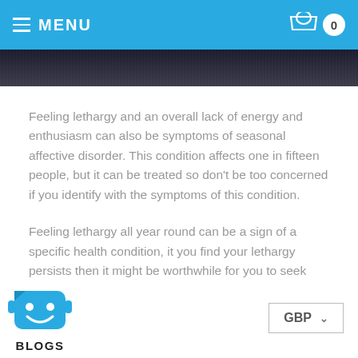MENU  0
[Figure (photo): Dark toned photographic image strip at top of page]
Feeling lethargy and an overall lack of energy and enthusiasm can also be symptoms of seasonal affective disorder. This condition affects one in fifteen people, but it can be treated so don't be too concerned if you identify with the symptoms of this condition.
Feeling lethargy all year round can be a sign of a specific health condition, it you find your lethargy persists then it might be worthwhile for you to seek advice from your local GP.
[Figure (logo): Blue smiley face robot/chat logo with BLOGS text below]
GBP